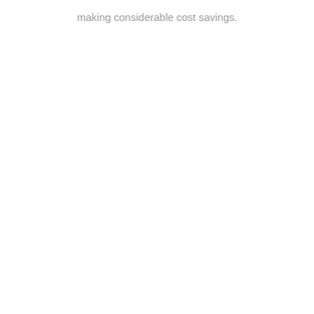making considerable cost savings.